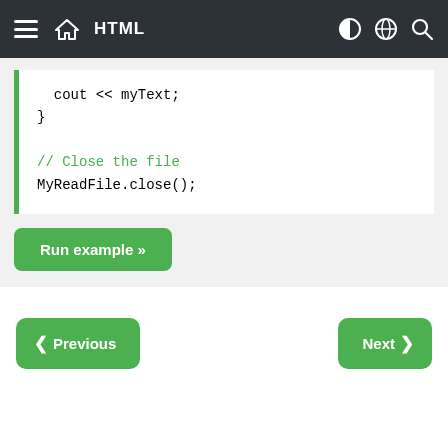HTML
[Figure (screenshot): Code block showing C++ code: cout << myText; closing brace, comment '// Close the file', and MyReadFile.close();]
Run example »
❮ Previous
Next ❯